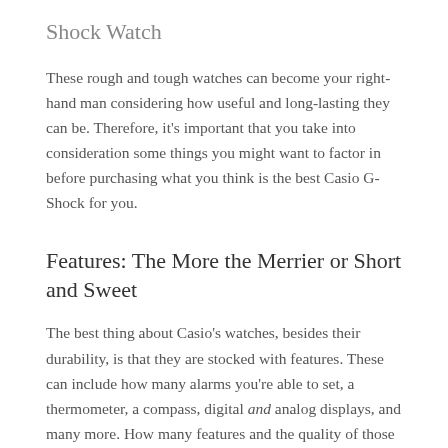Shock Watch
These rough and tough watches can become your right-hand man considering how useful and long-lasting they can be. Therefore, it's important that you take into consideration some things you might want to factor in before purchasing what you think is the best Casio G-Shock for you.
Features: The More the Merrier or Short and Sweet
The best thing about Casio's watches, besides their durability, is that they are stocked with features. These can include how many alarms you're able to set, a thermometer, a compass, digital and analog displays, and many more. How many features and the quality of those features